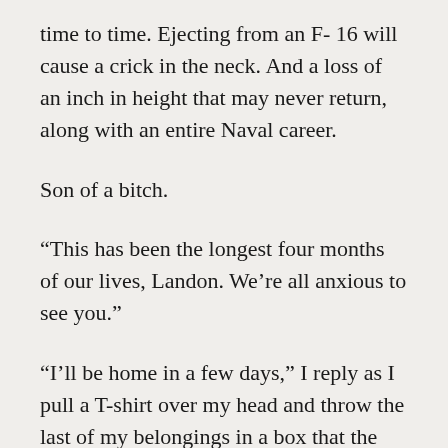time to time. Ejecting from an F-16 will cause a crick in the neck. And a loss of an inch in height that may never return, along with an entire Naval career.
Son of a bitch.
“This has been the longest four months of our lives, Landon. We’re all anxious to see you.”
“I’ll be home in a few days,” I reply as I pull a T-shirt over my head and throw the last of my belongings in a box that the Navy will have sent to me from Italy.
I loved being in Italy for the past few years, and God knows I didn’t plan to leave it like this.